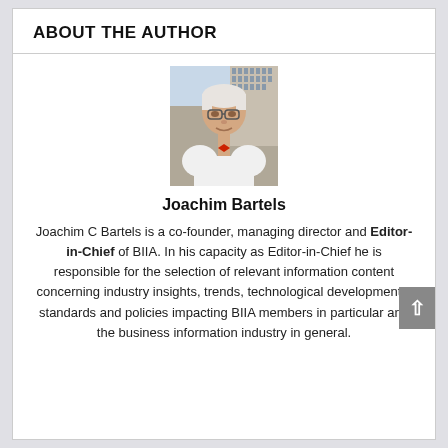ABOUT THE AUTHOR
[Figure (photo): Portrait photo of Joachim Bartels, an older gentleman with white hair and glasses, wearing a white shirt and red bow tie, with a city building background.]
Joachim Bartels
Joachim C Bartels is a co-founder, managing director and Editor-in-Chief of BIIA. In his capacity as Editor-in-Chief he is responsible for the selection of relevant information content concerning industry insights, trends, technological developments, standards and policies impacting BIIA members in particular and the business information industry in general.